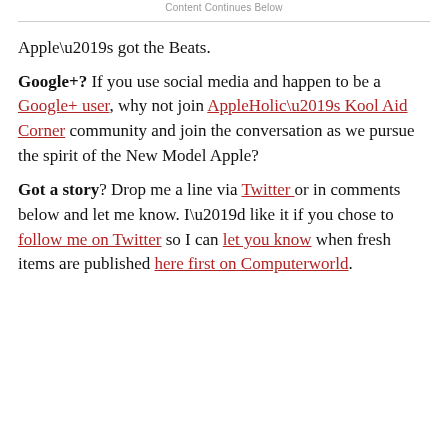Content Continues Below
Apple’s got the Beats.
Google+? If you use social media and happen to be a Google+ user, why not join AppleHolic’s Kool Aid Corner community and join the conversation as we pursue the spirit of the New Model Apple?
Got a story? Drop me a line via Twitter or in comments below and let me know. I’d like it if you chose to follow me on Twitter so I can let you know when fresh items are published here first on Computerworld.